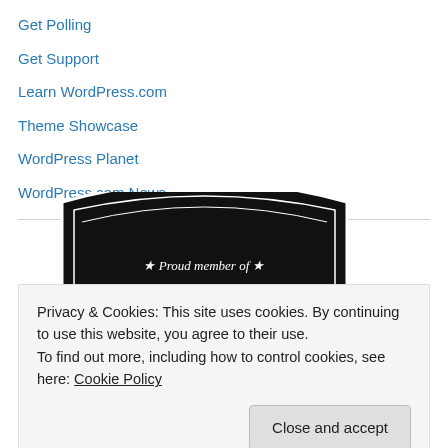Get Polling
Get Support
Learn WordPress.com
Theme Showcase
WordPress Planet
WordPress.com News
[Figure (logo): Proud member of THE INTERNET badge — black shield/crest shape with white text and stars]
Privacy & Cookies: This site uses cookies. By continuing to use this website, you agree to their use.
To find out more, including how to control cookies, see here: Cookie Policy